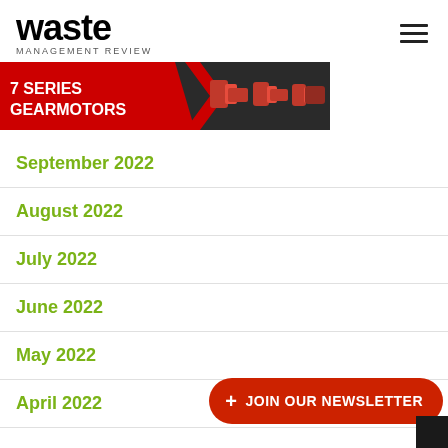waste MANAGEMENT REVIEW
[Figure (infographic): 7 Series Gearmotors advertisement banner showing red gear motors on dark background with red arrow design and white text reading 7 SERIES GEARMOTORS]
September 2022
August 2022
July 2022
June 2022
May 2022
April 2022